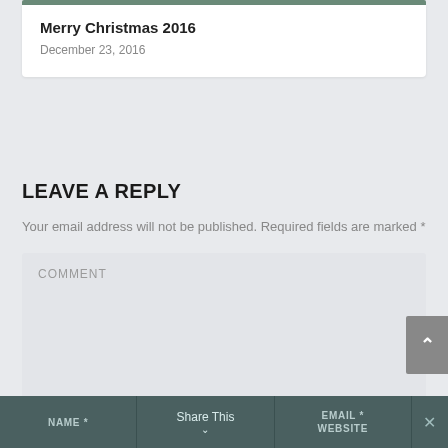Merry Christmas 2016
December 23, 2016
LEAVE A REPLY
Your email address will not be published. Required fields are marked *
COMMENT
NAME * | Share This | EMAIL * | WEBSITE | ✕